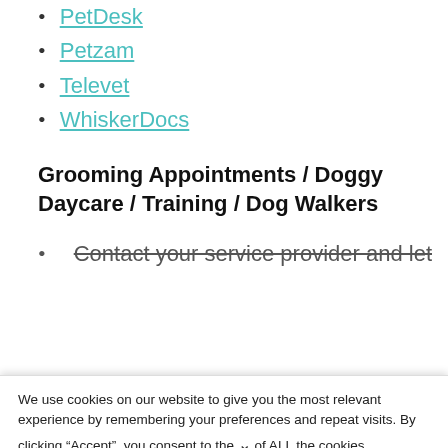PetDesk
Petzam
Televet
WhiskerDocs
Grooming Appointments / Doggy Daycare / Training / Dog Walkers
Contact your service provider and let
We use cookies on our website to give you the most relevant experience by remembering your preferences and repeat visits. By clicking “Accept”, you consent to the use of ALL the cookies.
[Figure (screenshot): SweetFrog advertisement banner: 'You deserve a sweet Treat' with sweetFrog logo and navigation icon]